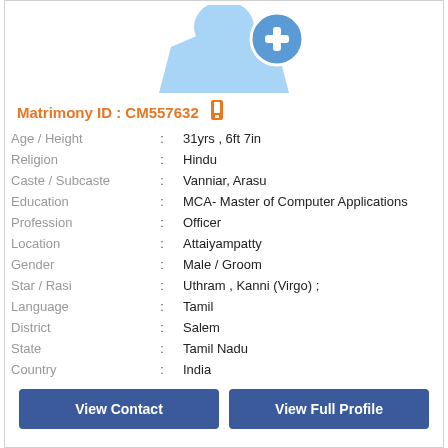[Figure (illustration): Profile avatar placeholder icon showing a silhouette with a blue circular badge with a plus sign]
Matrimony ID : CM557632
| Field |  | Value |
| --- | --- | --- |
| Age / Height | : | 31yrs , 6ft 7in |
| Religion | : | Hindu |
| Caste / Subcaste | : | Vanniar, Arasu |
| Education | : | MCA- Master of Computer Applications |
| Profession | : | Officer |
| Location | : | Attaiyampatty |
| Gender | : | Male / Groom |
| Star / Rasi | : | Uthram , Kanni (Virgo) ; |
| Language | : | Tamil |
| District | : | Salem |
| State | : | Tamil Nadu |
| Country | : | India |
View Contact
View Full Profile